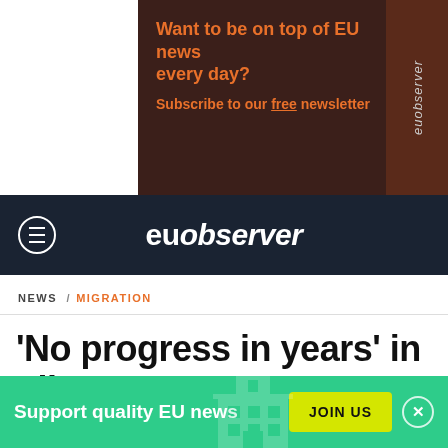[Figure (other): EUobserver newsletter subscription banner with dark brown background and orange text: 'Want to be on top of EU news every day? Subscribe to our free newsletter']
euobserver
NEWS / MIGRATION
'No progress in years' in Libya, says UN migration body
Support quality EU news  JOIN US